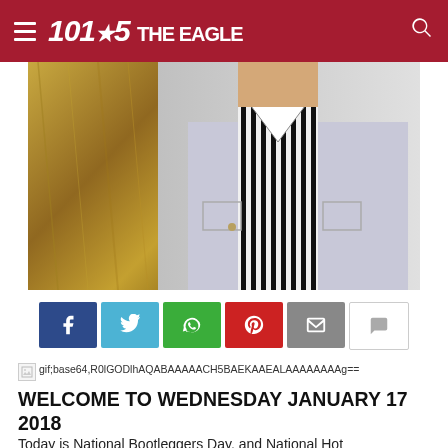101.5 THE EAGLE
[Figure (photo): Person wearing a black and white striped shirt against a golden straw/hay background]
[Figure (infographic): Social share buttons row: Facebook (blue), Twitter (light blue), WhatsApp (green), Pinterest (red), Email (grey), Comment (white)]
[Figure (other): Broken image icon followed by base64 encoded gif data string: gif;base64,R0lGODlhAQABAAAAACH5BAEKAAEALAAAAAAAAg==]
WELCOME TO WEDNESDAY JANUARY 17 2018
Today is National Bootleggers Day, and National Hot